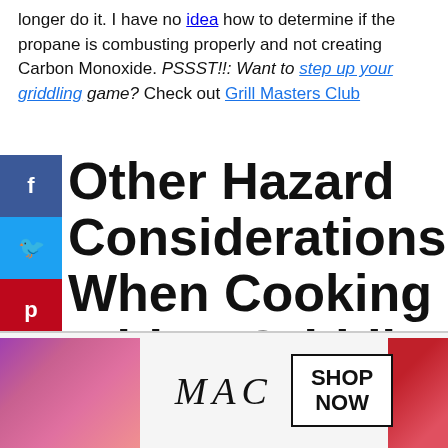longer do it. I have no idea how to determine if the propane is combusting properly and not creating Carbon Monoxide. PSSST!!: Want to step up your griddling game? Check out Grill Masters Club
Other Hazard Considerations When Cooking With A Griddle Indoors
Open Flame
[Figure (screenshot): Video player overlay showing 'No compatible source was found for this media.' with close button and danger sign background]
[Figure (photo): MAC cosmetics advertisement with lipsticks, MAC logo, and SHOP NOW button]